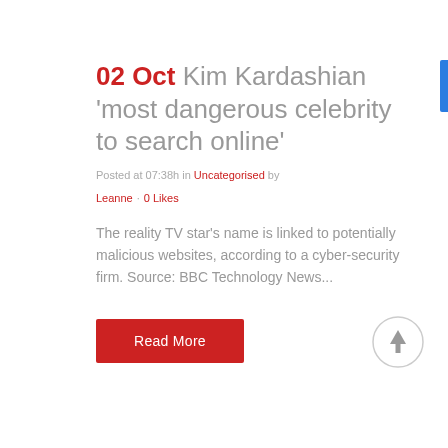02 Oct Kim Kardashian 'most dangerous celebrity to search online'
Posted at 07:38h in Uncategorised by Leanne · 0 Likes
The reality TV star's name is linked to potentially malicious websites, according to a cyber-security firm. Source: BBC Technology News...
Read More